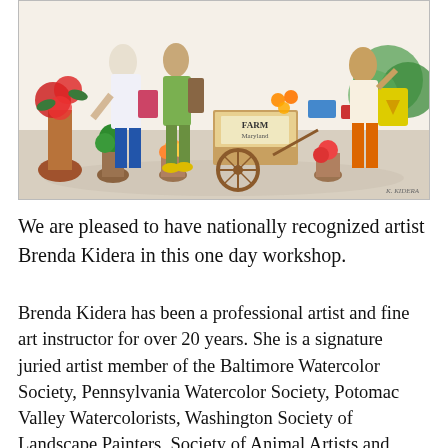[Figure (illustration): Watercolor painting of people shopping at an outdoor farmers market. Several figures carrying bags browse produce stands and flower displays. A cart with a 'Farm Maryland' sign is visible in the center. Colorful flowers, plants, and fruit are depicted throughout. Artist signature 'K. Kidera' visible in lower right.]
We are pleased to have nationally recognized artist Brenda Kidera in this one day workshop.
Brenda Kidera has been a professional artist and fine art instructor for over 20 years. She is a signature juried artist member of the Baltimore Watercolor Society, Pennsylvania Watercolor Society, Potomac Valley Watercolorists, Washington Society of Landscape Painters, Society of Animal Artists and International Guild of Realism. Her award-winning work has been featured in numerous publications and exhibited nationally. Brenda teaches classes and workshops year-round. She works in oil, watercolor and acrylic and works in a variety of subject matter: landscape, wildlife